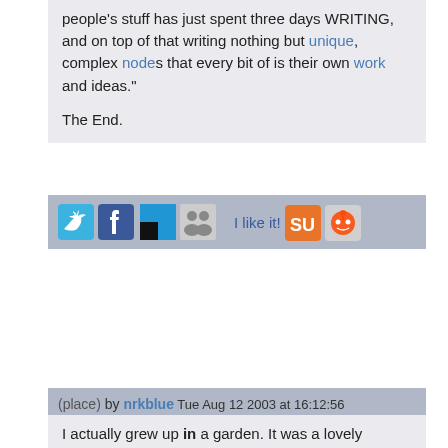people's stuff has just spent three days WRITING, and on top of that writing nothing but unique, complex nodes that every bit of is their own work and ideas."

The End.
[Figure (infographic): Social sharing bar with Twitter, Facebook, Delicious, StumbleUpon, Reddit icons and 'I like it!' text]
(place) by nrkblue Tue Aug 12 2003 at 16:12:56
I actually grew up in a garden. It was a lovely garden, or at least I thought so. It was full of wonderful glass sculptures and